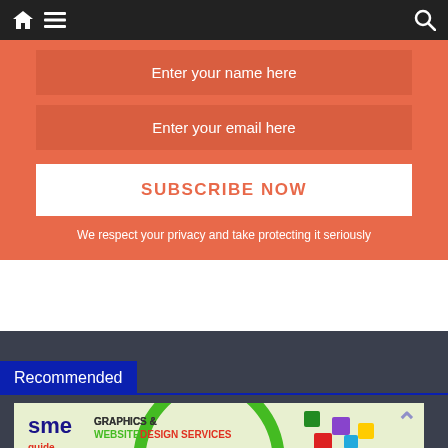Navigation bar with home, menu, and search icons
Enter your name here
Enter your email here
SUBSCRIBE NOW
We respect your privacy and take protecting it seriously
Recommended
[Figure (logo): SME Guide banner — Graphics & Website Design Services logo with colorful 3D blocks]